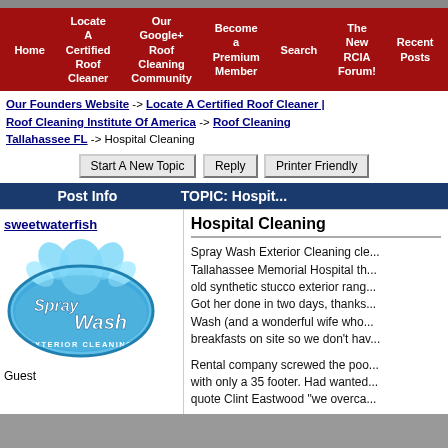Home | Locate A Certified Roof Cleaner | Our Google+ Roof Cleaning Community | Become a Premium Member | Search | The New RCIA Forum! | Recent Posts
Our Founders Website -> Locate A Certified Roof Cleaner | Roof Cleaning Institute Of America -> Roof Cleaning Tallahassee FL -> Hospital Cleaning
Start A New Topic | Reply | Printer Friendly
Post Info | TOPIC: Hospital Cleaning
sweetwaterfish
[Figure (logo): Spray Wash Exterior Cleaning logo - blue oval with water splash graphic and text 'Spray Wash EXTERIOR CLEANING']
Guest
Hospital Cleaning
Spray Wash Exterior Cleaning cleaned Tallahassee Memorial Hospital th... old synthetic stucco exterior rang... Got her done in two days, thanks... Wash (and a wonderful wife who... breakfasts on site so we don't hav...
Rental company screwed the poo... with only a 35 footer. Had wanted... quote Clint Eastwood "we overca...